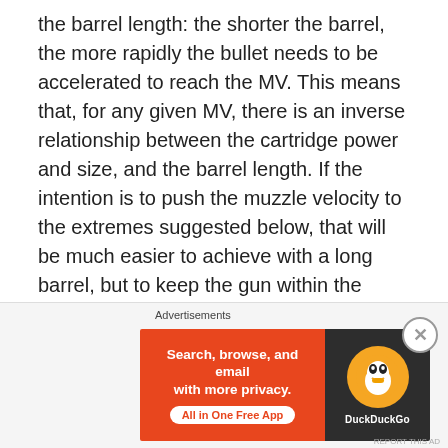the barrel length: the shorter the barrel, the more rapidly the bullet needs to be accelerated to reach the MV. This means that, for any given MV, there is an inverse relationship between the cartridge power and size, and the barrel length. If the intention is to push the muzzle velocity to the extremes suggested below, that will be much easier to achieve with a long barrel, but to keep the gun within the overall length limit (likely to be set in the definitive PON), that means a bullpup layout will probably be required.

The performance requirements are still
[Figure (other): DuckDuckGo advertisement banner: orange left panel with text 'Search, browse, and email with more privacy. All in One Free App' and dark right panel with DuckDuckGo duck logo and brand name.]